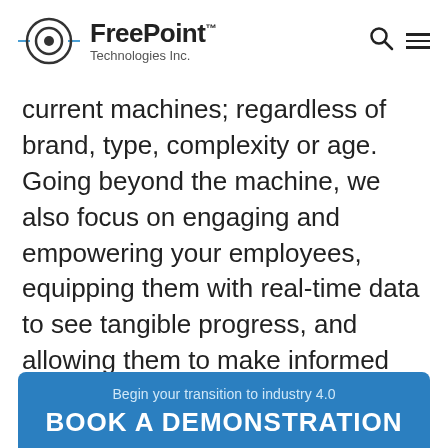FreePoint™ Technologies Inc.
current machines; regardless of brand, type, complexity or age. Going beyond the machine, we also focus on engaging and empowering your employees, equipping them with real-time data to see tangible progress, and allowing them to make informed decisions.
Begin your transition to industry 4.0
BOOK A DEMONSTRATION